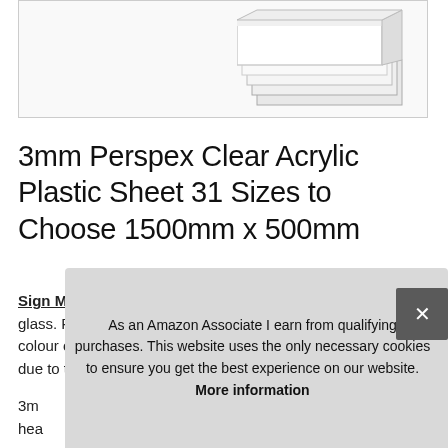[Figure (photo): Product image box showing a clear acrylic sheet with layered/stacked appearance, white/grey background]
3mm Perspex Clear Acrylic Plastic Sheet 31 Sizes to Choose 1500mm x 500mm
Sign Materials Direct - Greater impact resistance than glass. Please bear in mind that the image used to show the colour of the product may slightly vary from the actual item due to the light...
3m... hea...
As an Amazon Associate I earn from qualifying purchases. This website uses the only necessary cookies to ensure you get the best experience on our website. More information